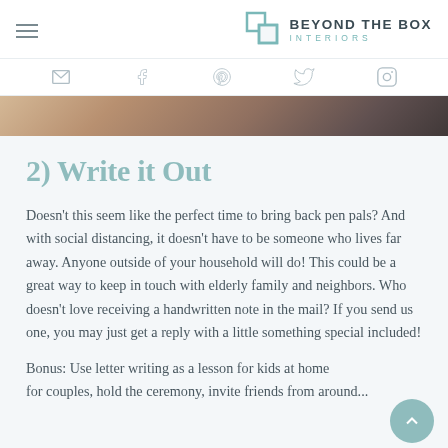BEYOND THE BOX INTERIORS
[Figure (photo): Partial photo strip showing a blurred warm-toned background image at the top of content area]
2) Write it Out
Doesn't this seem like the perfect time to bring back pen pals? And with social distancing, it doesn't have to be someone who lives far away. Anyone outside of your household will do! This could be a great way to keep in touch with elderly family and neighbors. Who doesn't love receiving a handwritten note in the mail? If you send us one, you may just get a reply with a little something special included!
Bonus: Use letter writing as a lesson for kids at home for couples, hold the ceremony, invite friends from around...